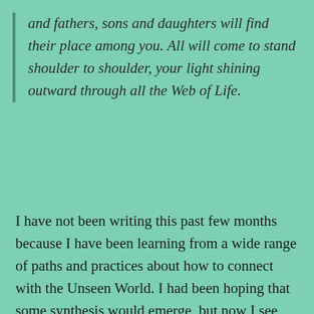and fathers, sons and daughters will find their place among you. All will come to stand shoulder to shoulder, your light shining outward through all the Web of Life.
I have not been writing this past few months because I have been learning from a wide range of paths and practices about how to connect with the Unseen World. I had been hoping that some synthesis would emerge, but now I see that each is a portal or window into deeper reality and wisdom. I have been learning the value of each, not so I can somehow weave them together in my life practice, but so I can see that there are